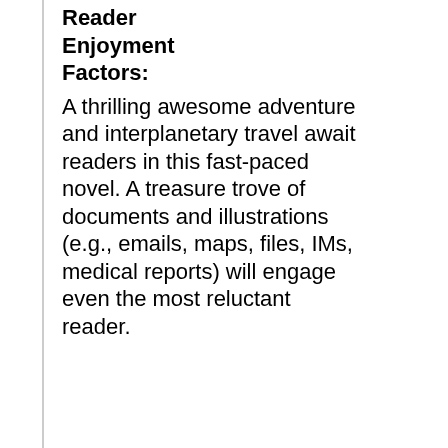Reader Enjoyment Factors:
A thrilling awesome adventure and interplanetary travel await readers in this fast-paced novel. A treasure trove of documents and illustrations  (e.g., emails, maps, files, IMs, medical reports) will engage even the most reluctant reader.